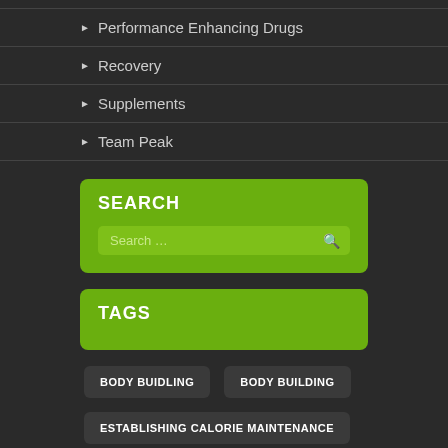Performance Enhancing Drugs
Recovery
Supplements
Team Peak
SEARCH
Search ...
TAGS
BODY BUIDLING
BODY BUILDING
ESTABLISHING CALORIE MAINTENANCE
KELVIN PEAK